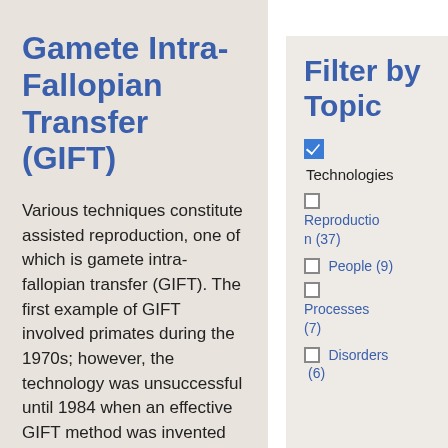Gamete Intra-Fallopian Transfer (GIFT)
Various techniques constitute assisted reproduction, one of which is gamete intra-fallopian transfer (GIFT). The first example of GIFT involved primates during the 1970s; however, the technology was unsuccessful until 1984 when an effective GIFT method was invented by Ricardo Asch at the University of Texas Health Sciences Center and the
Filter by Topic
[checked] Technologies
[unchecked] Reproduction (37)
[unchecked] People (9)
[unchecked] Processes (7)
[unchecked] Disorders (6)